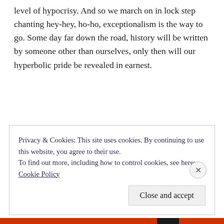level of hypocrisy. And so we march on in lock step chanting hey-hey, ho-ho, exceptionalism is the way to go. Some day far down the road, history will be written by someone other than ourselves, only then will our hyperbolic pride be revealed in earnest.
Privacy & Cookies: This site uses cookies. By continuing to use this website, you agree to their use.
To find out more, including how to control cookies, see here:
Cookie Policy